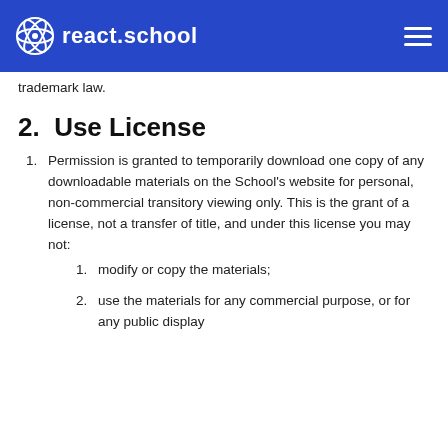react.school
trademark law.
2. Use License
Permission is granted to temporarily download one copy of any downloadable materials on the School's website for personal, non-commercial transitory viewing only. This is the grant of a license, not a transfer of title, and under this license you may not:
modify or copy the materials;
use the materials for any commercial purpose, or for any public display